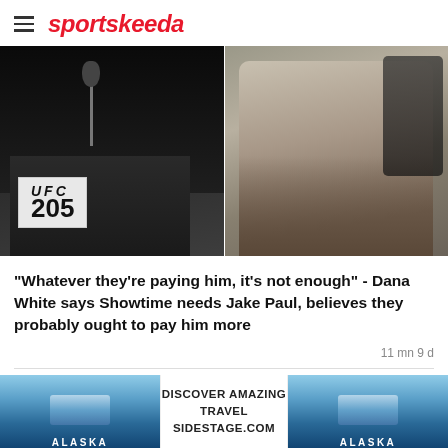sportskeeda
[Figure (photo): Two-panel image: left panel shows a podium at UFC 205 press conference with microphone, right panel shows a person (Jake Paul) seated in casual attire with tattoos]
"Whatever they're paying him, it's not enough" - Dana White says Showtime needs Jake Paul, believes they probably ought to pay him more
11 mn 9 d
[Figure (photo): Partially visible image showing TWO TITLE FIGHTS text on dark background]
[Figure (other): Advertisement: DISCOVER AMAZING TRAVEL SIDESTAGE.COM with Alaska landscape images on both sides]